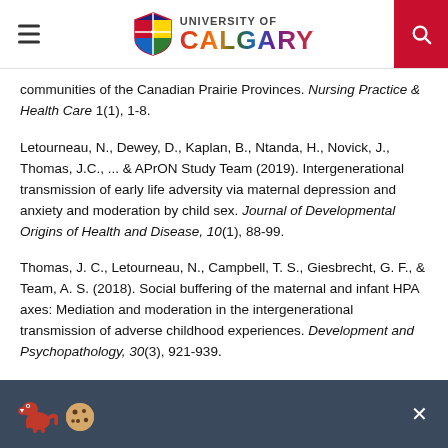University of Calgary navigation header
communities of the Canadian Prairie Provinces. Nursing Practice & Health Care 1(1), 1-8.
Letourneau, N., Dewey, D., Kaplan, B., Ntanda, H., Novick, J., Thomas, J.C., ... & APrON Study Team (2019). Intergenerational transmission of early life adversity via maternal depression and anxiety and moderation by child sex. Journal of Developmental Origins of Health and Disease, 10(1), 88-99.
Thomas, J. C., Letourneau, N., Campbell, T. S., Giesbrecht, G. F., & Team, A. S. (2018). Social buffering of the maternal and infant HPA axes: Mediation and moderation in the intergenerational transmission of adverse childhood experiences. Development and Psychopathology, 30(3), 921-939.
[Figure (other): Cookie consent bar with dinosaur and cookie emoji icons and a close button]